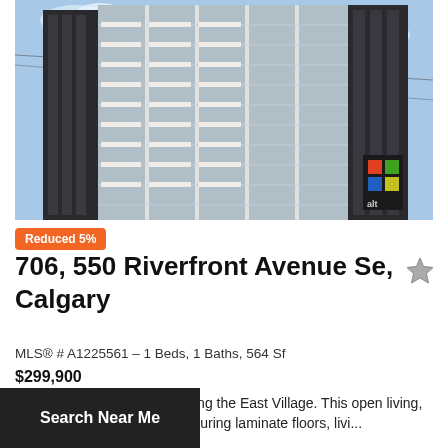[Figure (photo): Exterior photo of a modern high-rise condominium tower with glass facades and balconies, viewed from street level against a blue sky.]
Reduced 5%
706, 550 Riverfront Avenue Se, Calgary
MLS® # A1225561 – 1 Beds, 1 Baths, 564 Sf
$299,900
s den condo in the First building the East Village. This open living, is perfect for entertaining, featuring laminate floors, livi...
Search Near Me